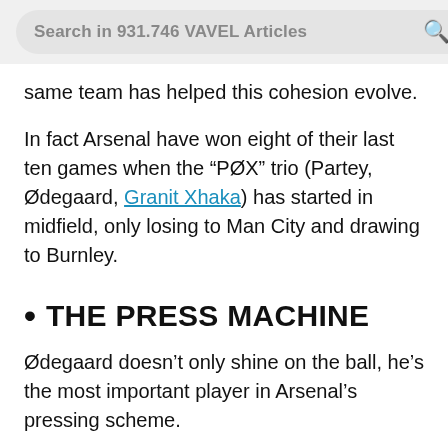Search in 931.746 VAVEL Articles
same team has helped this cohesion evolve.
In fact Arsenal have won eight of their last ten games when the “PØX” trio (Partey, Ødegaard, Granit Xhaka) has started in midfield, only losing to Man City and drawing to Burnley.
THE PRESS MACHINE
Ødegaard doesn’t only shine on the ball, he’s the most important player in Arsenal’s pressing scheme.